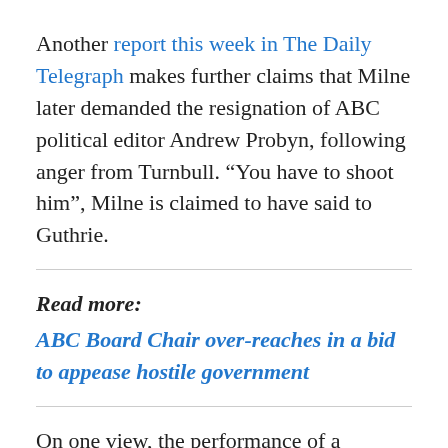Another report this week in The Daily Telegraph makes further claims that Milne later demanded the resignation of ABC political editor Andrew Probyn, following anger from Turnbull. “You have to shoot him”, Milne is claimed to have said to Guthrie.
Read more:
ABC Board Chair over-reaches in a bid to appease hostile government
On one view, the performance of a journalist is an